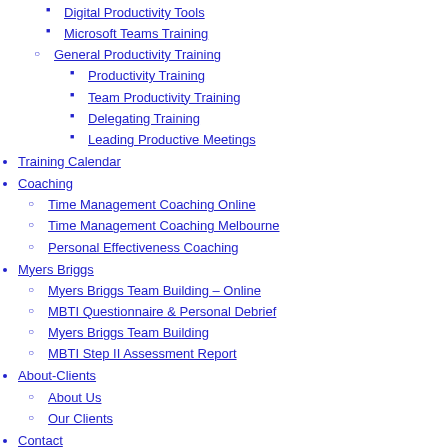Digital Productivity Tools
Microsoft Teams Training
General Productivity Training
Productivity Training
Team Productivity Training
Delegating Training
Leading Productive Meetings
Training Calendar
Coaching
Time Management Coaching Online
Time Management Coaching Melbourne
Personal Effectiveness Coaching
Myers Briggs
Myers Briggs Team Building – Online
MBTI Questionnaire & Personal Debrief
Myers Briggs Team Building
MBTI Step II Assessment Report
About-Clients
About Us
Our Clients
Contact
Blog
Shop